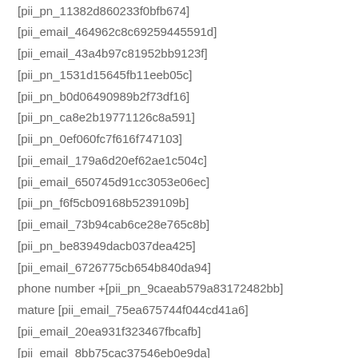[pii_pn_11382d860233f0bfb674]
[pii_email_464962c8c69259445591d]
[pii_email_43a4b97c81952bb9123f]
[pii_pn_1531d15645fb11eeb05c]
[pii_pn_b0d06490989b2f73df16]
[pii_pn_ca8e2b19771126c8a591]
[pii_pn_0ef060fc7f616f747103]
[pii_email_179a6d20ef62ae1c504c]
[pii_email_650745d91cc3053e06ec]
[pii_pn_f6f5cb09168b5239109b]
[pii_email_73b94cab6ce28e765c8b]
[pii_pn_be83949dacb037dea425]
[pii_email_6726775cb654b840da94]
phone number +[pii_pn_9caeab579a83172482bb]
mature [pii_email_75ea675744f044cd41a6]
[pii_email_20ea931f323467fbcafb]
[pii_email_8bb75cac37546eb0e9da]
[pii_pn_c9760b2ce4847b882964]